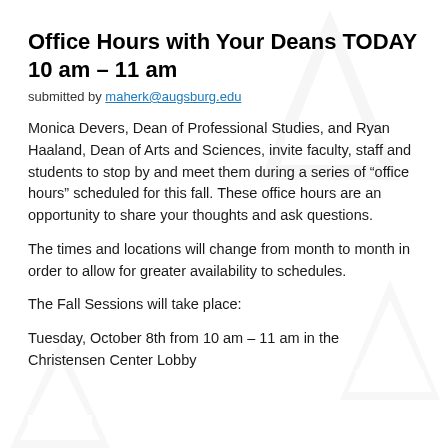Office Hours with Your Deans TODAY 10 am – 11 am
submitted by maherk@augsburg.edu
Monica Devers, Dean of Professional Studies, and Ryan Haaland, Dean of Arts and Sciences, invite faculty, staff and students to stop by and meet them during a series of “office hours” scheduled for this fall. These office hours are an opportunity to share your thoughts and ask questions.
The times and locations will change from month to month in order to allow for greater availability to schedules.
The Fall Sessions will take place:
Tuesday, October 8th from 10 am – 11 am in the Christensen Center Lobby